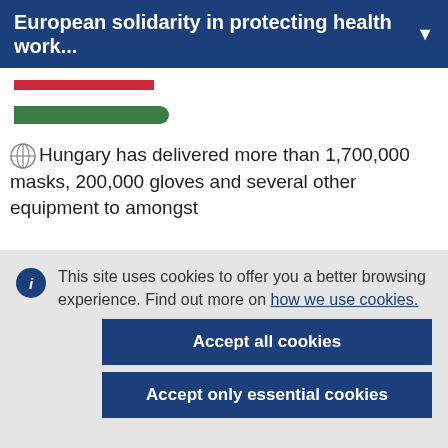European solidarity in protecting health work...
[Figure (illustration): Hungarian flag stripes (red and green horizontal bars representing the flag of Hungary)]
Hungary has delivered more than 1,700,000 masks, 200,000 gloves and several other equipment to amongst
This site uses cookies to offer you a better browsing experience. Find out more on how we use cookies.
Accept all cookies
Accept only essential cookies